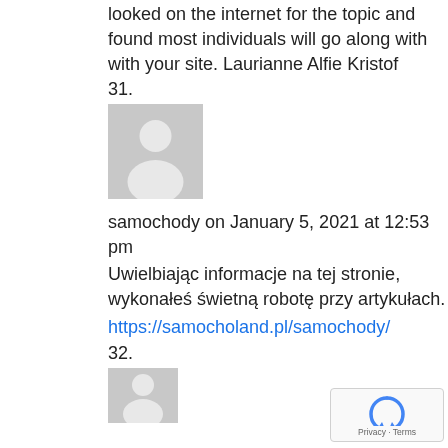looked on the internet for the topic and found most individuals will go along with with your site. Laurianne Alfie Kristof
31.
[Figure (illustration): Default grey avatar placeholder image with a white person silhouette]
samochody on January 5, 2021 at 12:53 pm
Uwielbiając informacje na tej stronie, wykonałeś świetną robotę przy artykułach.
https://samocholand.pl/samochody/
32.
[Figure (illustration): Default grey avatar placeholder image with a white person silhouette]
[Figure (logo): Google reCAPTCHA badge with Privacy and Terms text]